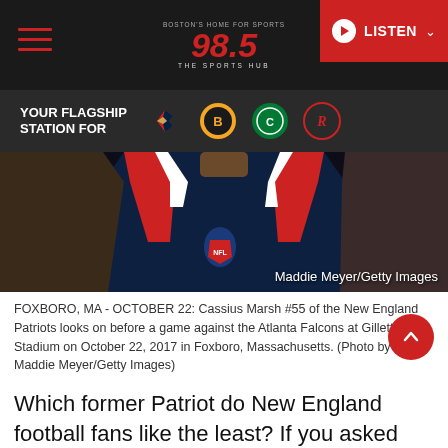98.5 The Sports Hub - Boston's Home For Sports - LISTEN
YOUR FLAGSHIP STATION FOR
[Figure (photo): NFL player wearing New England Patriots navy jersey with red and white accents, close-up chest/shoulder shot]
FOXBORO, MA - OCTOBER 22: Cassius Marsh #55 of the New England Patriots looks on before a game against the Atlanta Falcons at Gillette Stadium on October 22, 2017 in Foxboro, Massachusetts. (Photo by Maddie Meyer/Getty Images)
Which former Patriot do New England football fans like the least? If you asked around, you'd like get a number of answers. Some may say